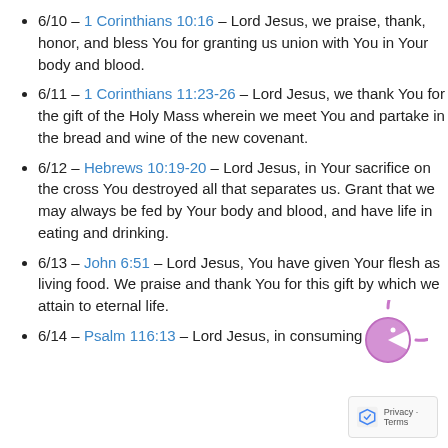6/10 – 1 Corinthians 10:16 – Lord Jesus, we praise, thank, honor, and bless You for granting us union with You in Your body and blood.
6/11 – 1 Corinthians 11:23-26 – Lord Jesus, we thank You for the gift of the Holy Mass wherein we meet You and partake in the bread and wine of the new covenant.
6/12 – Hebrews 10:19-20 – Lord Jesus, in Your sacrifice on the cross You destroyed all that separates us. Grant that we may always be fed by Your body and blood, and have life in eating and drinking.
6/13 – John 6:51 – Lord Jesus, You have given Your flesh as living food. We praise and thank You for this gift by which we attain to eternal life.
6/14 – Psalm 116:13 – Lord Jesus, in consuming